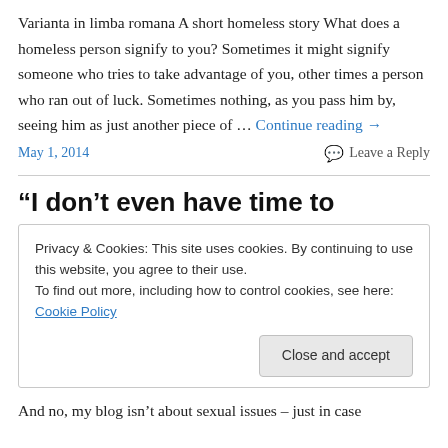Varianta in limba romana A short homeless story What does a homeless person signify to you? Sometimes it might signify someone who tries to take advantage of you, other times a person who ran out of luck. Sometimes nothing, as you pass him by, seeing him as just another piece of … Continue reading →
May 1, 2014   Leave a Reply
“I don’t even have time to
Privacy & Cookies: This site uses cookies. By continuing to use this website, you agree to their use.
To find out more, including how to control cookies, see here: Cookie Policy
Close and accept
And no, my blog isn’t about sexual issues – just in case